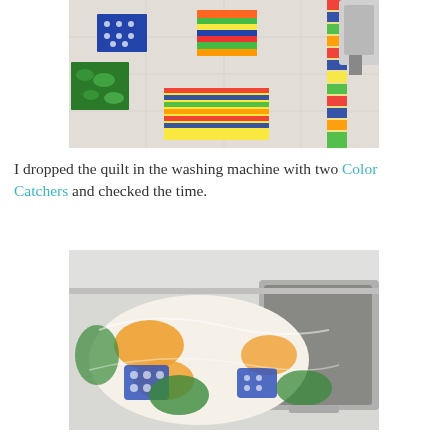[Figure (photo): A quilt with colorful fabric patches on a white background being sewn on a sewing machine. Patches include blue polka dots, green leafy fabric, yellow/green stripe, multicolor strip on right. A sewing machine foot is visible at top right.]
I dropped the quilt in the washing machine with two Color Catchers and checked the time.
[Figure (photo): A colorful quilt with orange, blue polka dot, and green patches bundled and placed into a white top-loading washing machine drum.]